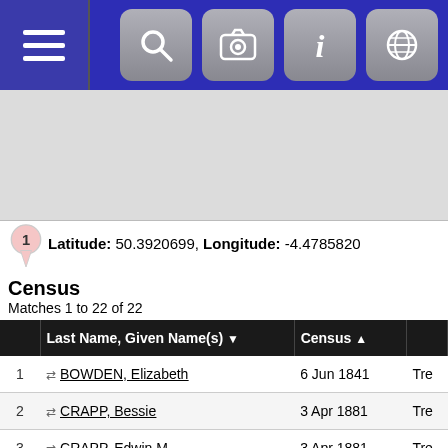[Figure (screenshot): Mobile app navigation bar with hamburger menu on left and four icon buttons (search, camera, info, globe) on right, dark blue background]
[Figure (map): Gray map area placeholder]
Latitude: 50.3920699, Longitude: -4.4785820
Census
Matches 1 to 22 of 22
|  | Last Name, Given Name(s) | Census |  |
| --- | --- | --- | --- |
| 1 | BOWDEN, Elizabeth | 6 Jun 1841 | Tre |
| 2 | CRAPP, Bessie | 3 Apr 1881 | Tre |
| 3 | CRAPP, Edwin M | 3 Apr 1881 | Tre |
| 4 | CRAPP, William | 3 Apr 1881 | Tre |
| 5 | GOVETT, Elizabeth | 3 Apr 1881 | Tre |